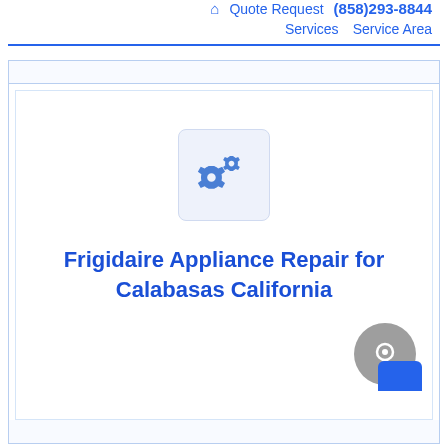🏠 Quote Request (858)293-8844 Services Service Area
[Figure (illustration): Gear/settings icon — two overlapping gear cogs in blue on a light blue-grey rounded square background]
Frigidaire Appliance Repair for Calabasas California